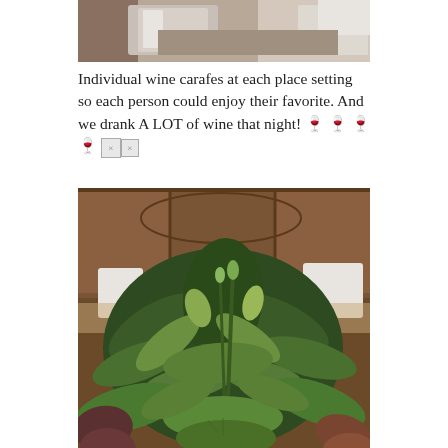[Figure (photo): Top portion of a photo showing wine carafes and place settings on a table with dark wood surface]
Individual wine carafes at each place setting so each person could enjoy their favorite. And we drank A LOT of wine that night! 🍷🍷🍷🍷 [broken image]
[Figure (photo): A lush floral/greenery arrangement with large leafy branches in front of a dark wood paneled cabinet or sideboard with chairs visible in the background]